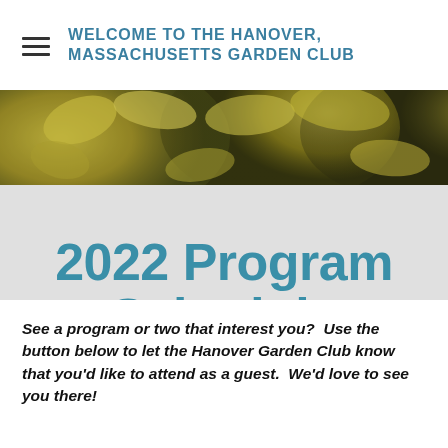WELCOME TO THE HANOVER, MASSACHUSETTS GARDEN CLUB
[Figure (photo): Close-up photo of yellow flowers or flower buds, blurred bokeh background]
2022 Program Schedule
See a program or two that interest you?  Use the button below to let the Hanover Garden Club know that you'd like to attend as a guest.  We'd love to see you there!